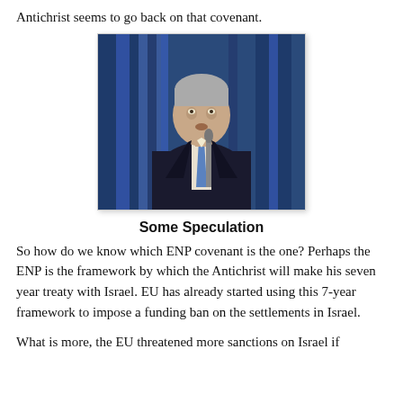Antichrist seems to go back on that covenant.
[Figure (photo): A grey-haired man in a dark suit and blue tie speaking at a podium with a microphone, in front of a blue curtained backdrop.]
Some Speculation
So how do we know which ENP covenant is the one? Perhaps the ENP is the framework by which the Antichrist will make his seven year treaty with Israel. EU has already started using this 7-year framework to impose a funding ban on the settlements in Israel.
What is more, the EU threatened more sanctions on Israel if